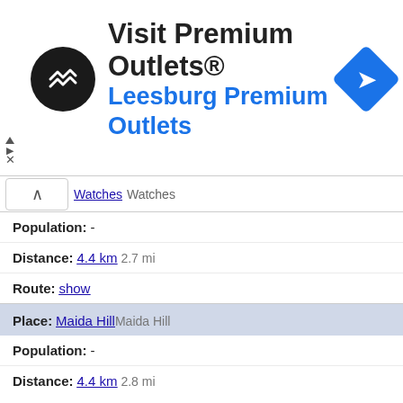[Figure (other): Advertisement banner for Visit Premium Outlets® featuring a circular black logo with arrows, text 'Visit Premium Outlets®' and 'Leesburg Premium Outlets' in blue, and a blue diamond navigation icon on the right.]
Watches  Watches
Population: -
Distance: 4.4 km 2.7 mi
Route: show
Place: Maida Hill  Maida Hill
Population: -
Distance: 4.4 km 2.8 mi
Route: show
Place: Stoke Newington  Stoke Newington
Population: -